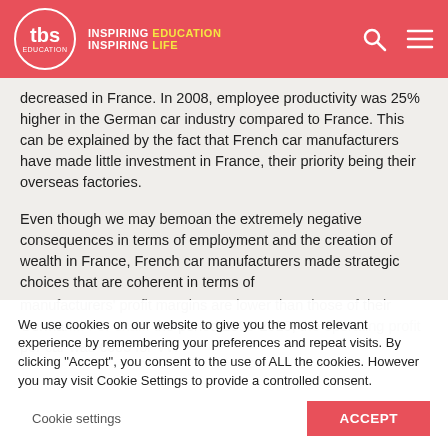TBS Education — INSPIRING EDUCATION INSPIRING LIFE
decreased in France. In 2008, employee productivity was 25% higher in the German car industry compared to France. This can be explained by the fact that French car manufacturers have made little investment in France, their priority being their overseas factories.
Even though we may bemoan the extremely negative consequences in terms of employment and the creation of wealth in France, French car manufacturers made strategic choices that are coherent in terms of
We use cookies on our website to give you the most relevant experience by remembering your preferences and repeat visits. By clicking "Accept", you consent to the use of ALL the cookies. However you may visit Cookie Settings to provide a controlled consent.
manufacturers' profit margins are lower than those of their German... For exa... the period 2000-2010, the operating profit per car was €605 for VW...